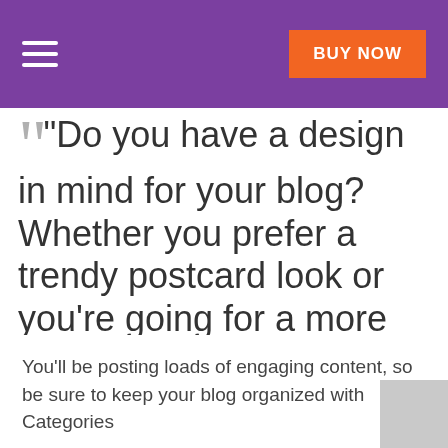BUY NOW
“Do you have a design in mind for your blog? Whether you prefer a trendy postcard look or you’re going for a more editorial style blog – there’s a stunning layout for everyone.”
You’ll be posting loads of engaging content, so be sure to keep your blog organized with Categories